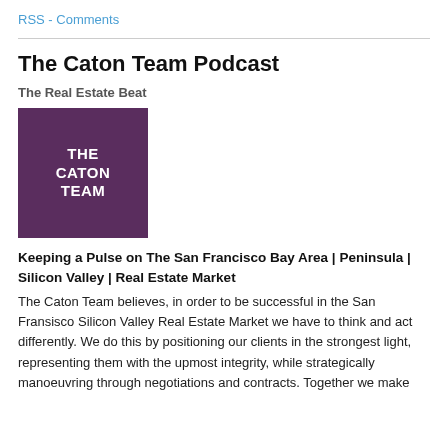RSS - Comments
The Caton Team Podcast
The Real Estate Beat
[Figure (logo): Purple square logo with white bold text reading THE CATON TEAM]
Keeping a Pulse on The San Francisco Bay Area | Peninsula | Silicon Valley | Real Estate Market
The Caton Team believes, in order to be successful in the San Fransisco Silicon Valley Real Estate Market we have to think and act differently. We do this by positioning our clients in the strongest light, representing them with the upmost integrity, while strategically manoeuvring through negotiations and contracts. Together we make